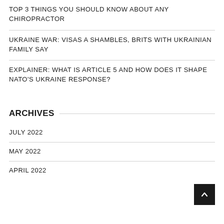TOP 3 THINGS YOU SHOULD KNOW ABOUT ANY CHIROPRACTOR
UKRAINE WAR: VISAS A SHAMBLES, BRITS WITH UKRAINIAN FAMILY SAY
EXPLAINER: WHAT IS ARTICLE 5 AND HOW DOES IT SHAPE NATO'S UKRAINE RESPONSE?
ARCHIVES
JULY 2022
MAY 2022
APRIL 2022